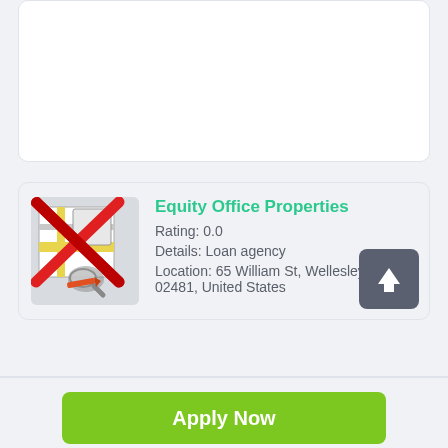[Figure (screenshot): Partial white card at top of screen, truncated]
Equity Office Properties
Rating: 0.0
Details: Loan agency
Location: 65 William St, Wellesley, MA 02481, United States
Apply Now
Applying does NOT affect your credit score! No credit check to apply.